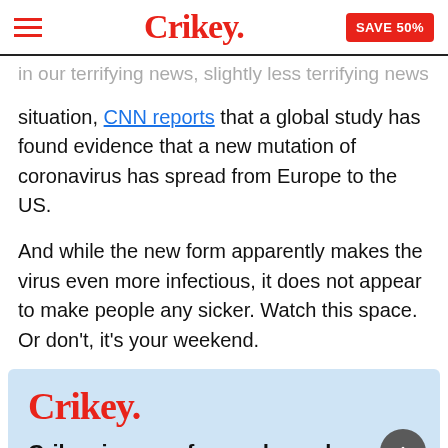Crikey. SAVE 50%
in our terrifying news, slightly less terrifying news situation, CNN reports that a global study has found evidence that a new mutation of coronavirus has spread from Europe to the US.
And while the new form apparently makes the virus even more infectious, it does not appear to make people any sicker. Watch this space. Or don't, it's your weekend.
[Figure (other): Crikey promotional subscription box with light blue background, Crikey logo in red, and text 'Crikey is news for readers who can']